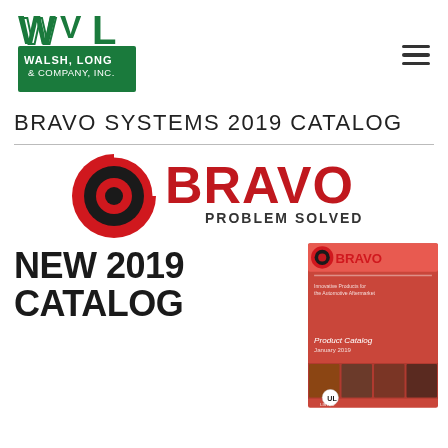[Figure (logo): Walsh, Long & Company, Inc. logo with 'WVL' letters in green and company name in green rectangle]
BRAVO SYSTEMS 2019 CATALOG
[Figure (logo): Bravo Problem Solved logo — circular swirl icon in red/black with BRAVO text in red and PROBLEM SOLVED in dark gray below]
[Figure (illustration): NEW 2019 CATALOG text in bold black on left, and Bravo product catalog cover image (red background with photos and UL logo) on right]